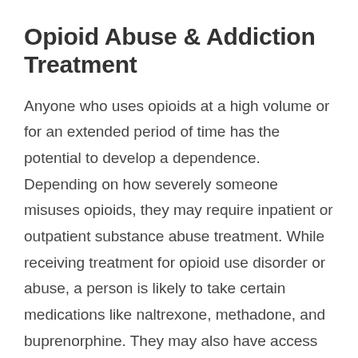Opioid Abuse & Addiction Treatment
Anyone who uses opioids at a high volume or for an extended period of time has the potential to develop a dependence. Depending on how severely someone misuses opioids, they may require inpatient or outpatient substance abuse treatment. While receiving treatment for opioid use disorder or abuse, a person is likely to take certain medications like naltrexone, methadone, and buprenorphine. They may also have access to Medication Assisted Tr